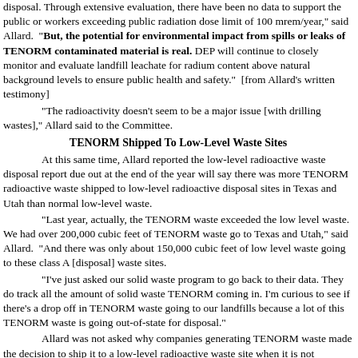disposal. Through extensive evaluation, there have been no data to support the public or workers exceeding public radiation dose limit of 100 mrem/year," said Allard. "But, the potential for environmental impact from spills or leaks of TENORM contaminated material is real. DEP will continue to closely monitor and evaluate landfill leachate for radium content above natural background levels to ensure public health and safety." [from Allard's written testimony]
"The radioactivity doesn't seem to be a major issue [with drilling wastes]," Allard said to the Committee.
TENORM Shipped To Low-Level Waste Sites
At this same time, Allard reported the low-level radioactive waste disposal report due out at the end of the year will say there was more TENORM radioactive waste shipped to low-level radioactive disposal sites in Texas and Utah than normal low-level waste.
"Last year, actually, the TENORM waste exceeded the low level waste. We had over 200,000 cubic feet of TENORM waste go to Texas and Utah," said Allard. "And there was only about 150,000 cubic feet of low level waste going to these class A [disposal] waste sites.
"I've just asked our solid waste program to go back to their data. They do track all the amount of solid waste TENORM coming in. I'm curious to see if there's a drop off in TENORM waste going to our landfills because a lot of this TENORM waste is going out-of-state for disposal."
Allard was not asked why companies generating TENORM waste made the decision to ship it to a low-level radioactive waste site when it is not technically low-level waste.
[NOTE: Typically, when a company makes this kind of decision they are concerned about environmental cleanup liability.]
Click Here for a copy of his written testimony.
Scott Perry, DEP Deputy Secretary for Oil and Gas Management, did not have written testimony, but responded to questions